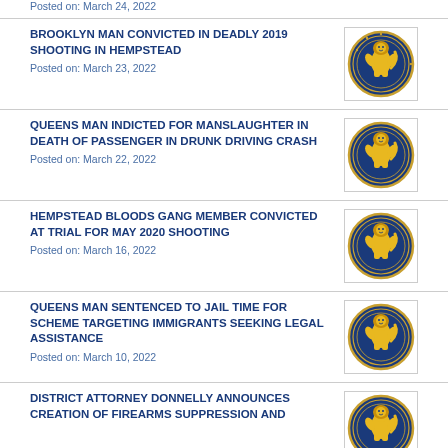Posted on: March 24, 2022
BROOKLYN MAN CONVICTED IN DEADLY 2019 SHOOTING IN HEMPSTEAD
Posted on: March 23, 2022
QUEENS MAN INDICTED FOR MANSLAUGHTER IN DEATH OF PASSENGER IN DRUNK DRIVING CRASH
Posted on: March 22, 2022
HEMPSTEAD BLOODS GANG MEMBER CONVICTED AT TRIAL FOR MAY 2020 SHOOTING
Posted on: March 16, 2022
QUEENS MAN SENTENCED TO JAIL TIME FOR SCHEME TARGETING IMMIGRANTS SEEKING LEGAL ASSISTANCE
Posted on: March 10, 2022
DISTRICT ATTORNEY DONNELLY ANNOUNCES CREATION OF FIREARMS SUPPRESSION AND
[Figure (logo): Nassau County District Attorney seal/logo — circular blue and gold emblem with lion rampant]